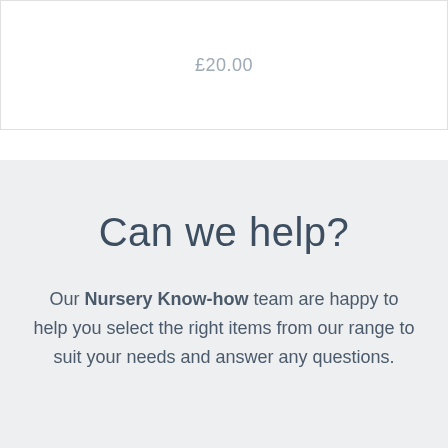£20.00
Can we help?
Our Nursery Know-how team are happy to help you select the right items from our range to suit your needs and answer any questions.